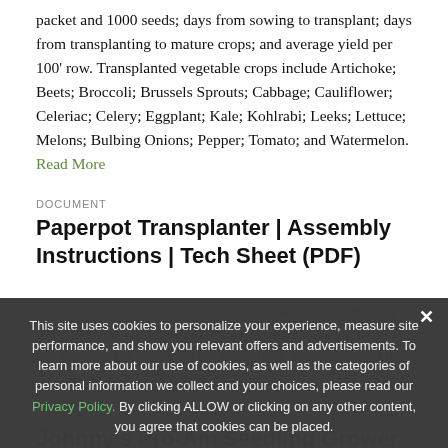packet and 1000 seeds; days from sowing to transplant; days from transplanting to mature crops; and average yield per 100' row. Transplanted vegetable crops include Artichoke; Beets; Broccoli; Brussels Sprouts; Cabbage; Cauliflower; Celeriac; Celery; Eggplant; Kale; Kohlrabi; Leeks; Lettuce; Melons; Bulbing Onions; Pepper; Tomato; and Watermelon. Read More
DOCUMENT
Paperpot Transplanter | Assembly Instructions | Tech Sheet (PDF)
Follow the instructions in this Tech Sheet for assembling the Paperpot Transplanter. Included are instructions for the main unit, the row units, the coulter assembly, and the step-by-step assembly process.
DOCUMENT
Johnny's Pro-Am Seedling Grower Kit | Tech Sheet (PDF)
By growing your own seedlings, you can plant the varieties you
This site uses cookies to personalize your experience, measure site performance, and show you relevant offers and advertisements. To learn more about our use of cookies, as well as the categories of personal information we collect and your choices, please read our Privacy Policy. By clicking ALLOW or clicking on any other content, you agree that cookies can be placed.